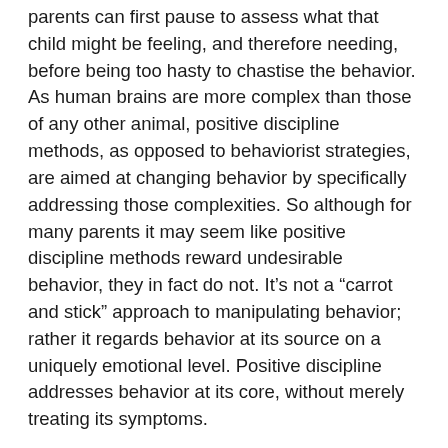parents can first pause to assess what that child might be feeling, and therefore needing, before being too hasty to chastise the behavior. As human brains are more complex than those of any other animal, positive discipline methods, as opposed to behaviorist strategies, are aimed at changing behavior by specifically addressing those complexities. So although for many parents it may seem like positive discipline methods reward undesirable behavior, they in fact do not. It’s not a “carrot and stick” approach to manipulating behavior; rather it regards behavior at its source on a uniquely emotional level. Positive discipline addresses behavior at its core, without merely treating its symptoms.
“I’m alone in this.”
More often than not, parents meet other parents who are unfamiliar with the concept of positive discipline, than those who use it regularly in their families. Sometimes, it’s even within the same family that parents disagree on how to discipline a child. When parents are alone in using positive